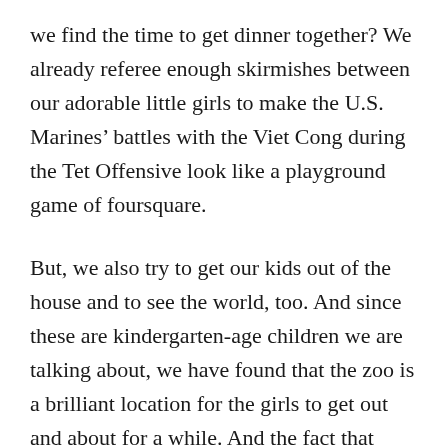we find the time to get dinner together? We already referee enough skirmishes between our adorable little girls to make the U.S. Marines' battles with the Viet Cong during the Tet Offensive look like a playground game of foursquare.
But, we also try to get our kids out of the house and to see the world, too. And since these are kindergarten-age children we are talking about, we have found that the zoo is a brilliant location for the girls to get out and about for a while. And the fact that taking them there also falls under the guise of “education”, we get to feel